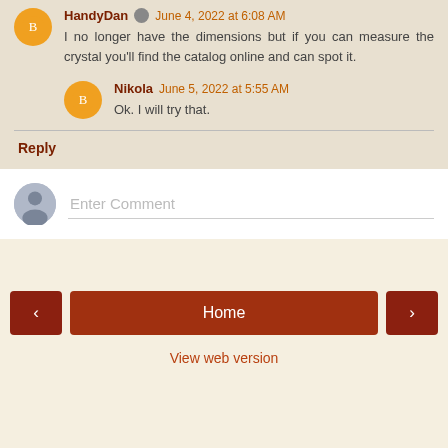HandyDan June 4, 2022 at 6:08 AM — I no longer have the dimensions but if you can measure the crystal you'll find the catalog online and can spot it.
Nikola June 5, 2022 at 5:55 AM — Ok. I will try that.
Reply
Enter Comment
Home
View web version